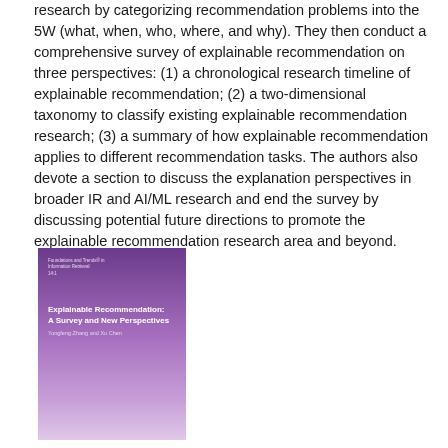research by categorizing recommendation problems into the 5W (what, when, who, where, and why). They then conduct a comprehensive survey of explainable recommendation on three perspectives: (1) a chronological research timeline of explainable recommendation; (2) a two-dimensional taxonomy to classify existing explainable recommendation research; (3) a summary of how explainable recommendation applies to different recommendation tasks. The authors also devote a section to discuss the explanation perspectives in broader IR and AI/ML research and end the survey by discussing potential future directions to promote the explainable recommendation research area and beyond.
[Figure (photo): Book cover of 'Explainable Recommendation: A Survey and New Perspectives' by Yongfeng Zhang and Yi Chen, published in Foundations and Trends in Information Retrieval. Purple gradient cover.]